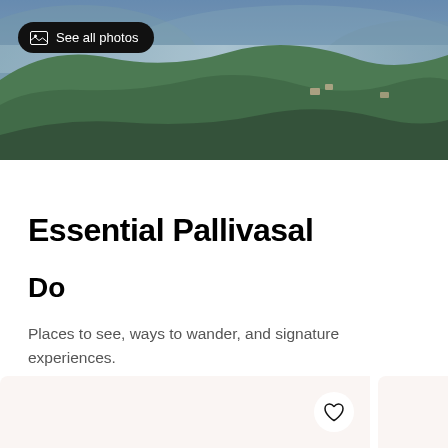[Figure (photo): Aerial/panoramic view of green forested hills with scattered buildings, mist in background — the Pallivasal landscape]
See all photos
Essential Pallivasal
Do
Places to see, ways to wander, and signature experiences.
See all